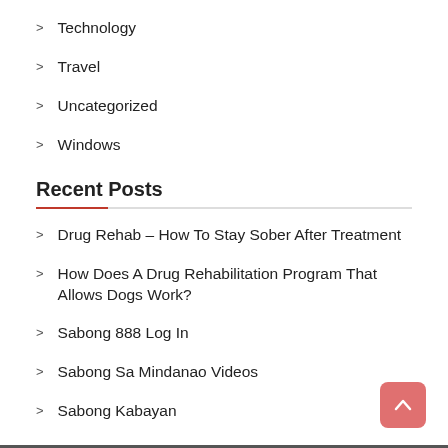Technology
Travel
Uncategorized
Windows
Recent Posts
Drug Rehab – How To Stay Sober After Treatment
How Does A Drug Rehabilitation Program That Allows Dogs Work?
Sabong 888 Log In
Sabong Sa Mindanao Videos
Sabong Kabayan